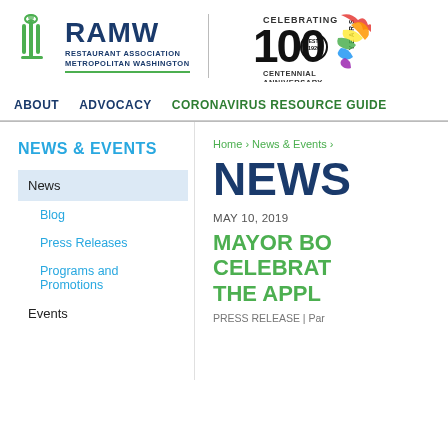[Figure (logo): RAMW Restaurant Association Metropolitan Washington logo with green icon, blue text, and green underline, alongside Celebrating 100 Years EST. 1920 Centennial Anniversary logo with colorful splash]
ABOUT   ADVOCACY   CORONAVIRUS RESOURCE GUIDE
NEWS & EVENTS
News
Blog
Press Releases
Programs and Promotions
Events
Home › News & Events ›
NEWS
MAY 10, 2019
MAYOR BO CELEBRAT THE APPL
PRESS RELEASE | Par